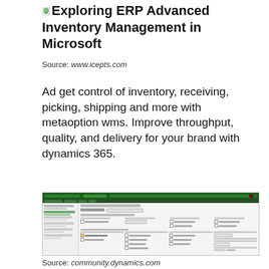Exploring ERP Advanced Inventory Management in Microsoft
Source: www.icepts.com
Ad get control of inventory, receiving, picking, shipping and more with metaoption wms. Improve throughput, quality, and delivery for your brand with dynamics 365.
[Figure (screenshot): Screenshot of Microsoft Dynamics 365 ERP Advanced Inventory Management settings screen, showing Item model groups configuration with costing method and inventory policies options.]
Source: community.dynamics.com